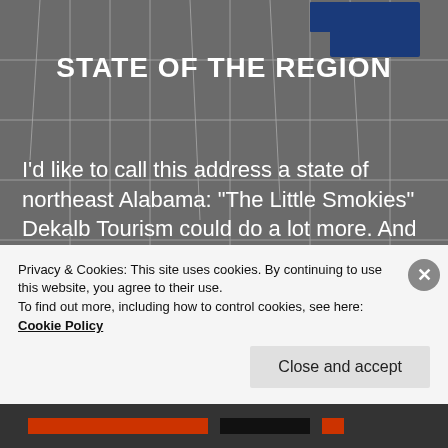[Figure (map): Grayscale map of Alabama region with one county highlighted in dark blue in the northeast corner]
STATE OF THE REGION
I'd like to call this address a state of northeast Alabama: “The Little Smokies” Dekalb Tourism could do a lot more. And instead of only focusing on Fort Payne’s multi-year, completely dis-functional efforts of a nightlife scene riddled with self interest, ignorance, close-mindedness, and greed, we could stop doing the same old things that have […]
Privacy & Cookies: This site uses cookies. By continuing to use this website, you agree to their use.
To find out more, including how to control cookies, see here: Cookie Policy
Close and accept